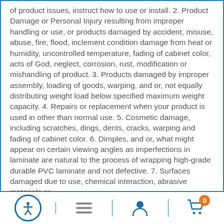of product issues, instruct how to use or install. 2. Product Damage or Personal Injury resulting from improper handling or use, or products damaged by accident, misuse, abuse, fire, flood, inclement condition damage from heat or humidity, uncontrolled temperature, fading of cabinet color, acts of God, neglect, corrosion, rust, modification or mishandling of product. 3. Products damaged by improper assembly, loading of goods, warping, and or, not equally distributing weight load below specified maximum weight capacity. 4. Repairs or replacement when your product is used in other than normal use. 5. Cosmetic damage, including scratches, dings, dents, cracks, warping and fading of cabinet color. 6. Dimples, and or, what might appear on certain viewing angles as imperfections in laminate are natural to the process of wrapping high-grade durable PVC laminate and not defective. 7. Surfaces damaged due to use, chemical interaction, abrasive materials or